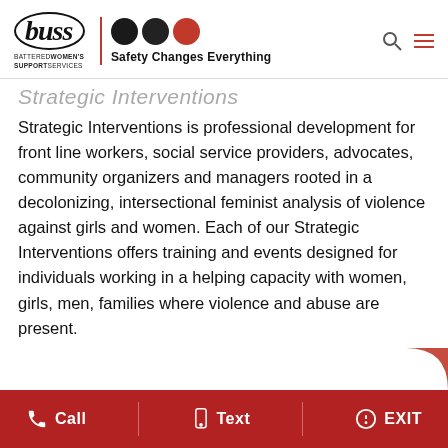buss BATTERED WOMEN'S SUPPORT SERVICES | Safety Changes Everything
Strategic Interventions
Strategic Interventions is professional development for front line workers, social service providers, advocates, community organizers and managers rooted in a decolonizing, intersectional feminist analysis of violence against girls and women. Each of our Strategic Interventions offers training and events designed for individuals working in a helping capacity with women, girls, men, families where violence and abuse are present.
Call   Text   EXIT